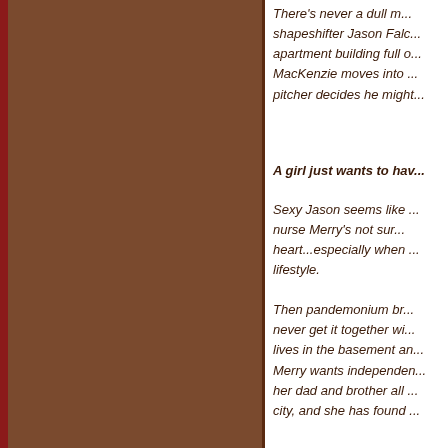There's never a dull moment for shapeshifter Jason Falco in an apartment building full of... MacKenzie moves into a... pitcher decides he might...
A girl just wants to hav...
Sexy Jason seems like... nurse Merry's not sure... heart...especially when... lifestyle.
Then pandemonium br... never get it together wi... lives in the basement an... Merry wants independence... her dad and brother all... city, and she has found...